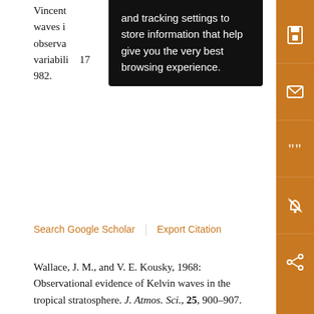Vincent ... waves i... observa... variability ... 17 982.
Search Google Scholar | Export Citation
Wallace, J. M., and V. E. Kousky, 1968: Observational evidence of Kelvin waves in the tropical stratosphere. J. Atmos. Sci., 25, 900–907.
Search Google Scholar | Export Citation
Wang, L., and M. A. Geller, 2003: Morphology of gravity-wave energy as observed from 4 years (1998–2001) of high vertical resolution U.S. radiosonde data. J. Geophys. Res., 108, 4489.